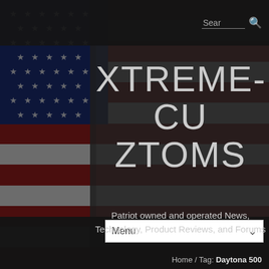[Figure (illustration): American flag background with stars and red/white/blue stripes, partially obscured by dark overlays on left side and center]
XTREMECUZTOMS
Patriot owned and operated News, Technology, Product Reviews, and Forums
Menu
Home / Tag: Daytona 500